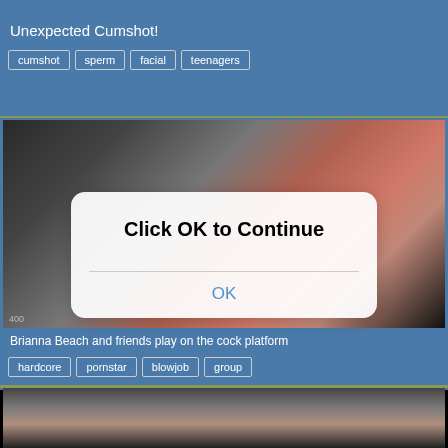[Figure (screenshot): Top banner area with website name PornProsAccess.com and dark image strip]
Unexpected Cumshot!
cumshot
sperm
facial
teenagers
[Figure (screenshot): Video thumbnail showing women in a scene with a mobile alert dialog overlay reading 'Click OK to Continue' with an OK button]
Brianna Beach and friends play on the cock platform
hardcore
pornstar
blowjob
group
[Figure (screenshot): Partial video thumbnail at the bottom of the page]